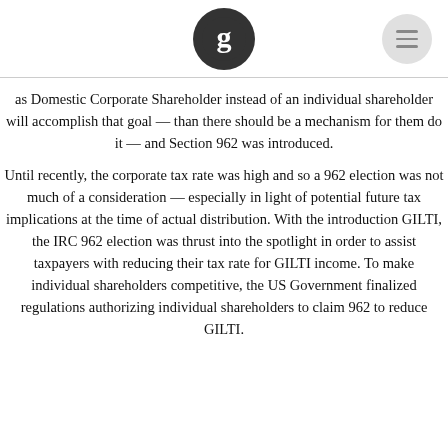[Guardian logo and menu icon]
as Domestic Corporate Shareholder instead of an individual shareholder will accomplish that goal — than there should be a mechanism for them do it — and Section 962 was introduced.
Until recently, the corporate tax rate was high and so a 962 election was not much of a consideration — especially in light of potential future tax implications at the time of actual distribution. With the introduction GILTI, the IRC 962 election was thrust into the spotlight in order to assist taxpayers with reducing their tax rate for GILTI income. To make individual shareholders competitive, the US Government finalized regulations authorizing individual shareholders to claim 962 to reduce GILTI.